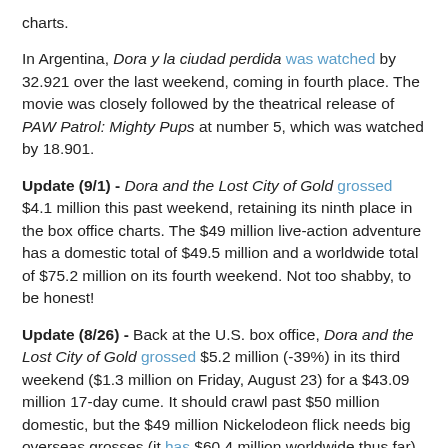charts.
In Argentina, Dora y la ciudad perdida was watched by 32.921 over the last weekend, coming in fourth place. The movie was closely followed by the theatrical release of PAW Patrol: Mighty Pups at number 5, which was watched by 18.901.
Update (9/1) - Dora and the Lost City of Gold grossed $4.1 million this past weekend, retaining its ninth place in the box office charts. The $49 million live-action adventure has a domestic total of $49.5 million and a worldwide total of $75.2 million on its fourth weekend. Not too shabby, to be honest!
Update (8/26) - Back at the U.S. box office, Dora and the Lost City of Gold grossed $5.2 million (-39%) in its third weekend ($1.3 million on Friday, August 23) for a $43.09 million 17-day cume. It should crawl past $50 million domestic, but the $49 million Nickelodeon flick needs big overseas grosses (it has $60.4 million worldwide thus far) to justify itself. Dora is currently in ninth place in the charts.